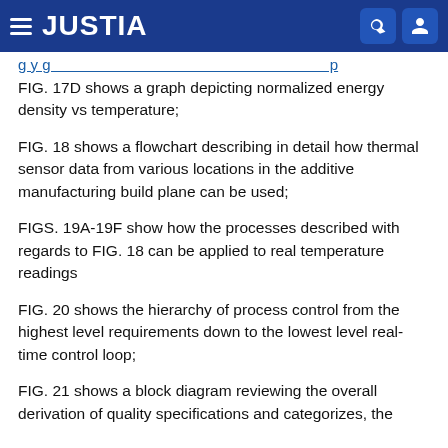JUSTIA
g y g p
FIG. 17D shows a graph depicting normalized energy density vs temperature;
FIG. 18 shows a flowchart describing in detail how thermal sensor data from various locations in the additive manufacturing build plane can be used;
FIGS. 19A-19F show how the processes described with regards to FIG. 18 can be applied to real temperature readings
FIG. 20 shows the hierarchy of process control from the highest level requirements down to the lowest level real-time control loop;
FIG. 21 shows a block diagram reviewing the overall derivation of quality specifications and categorizes, the